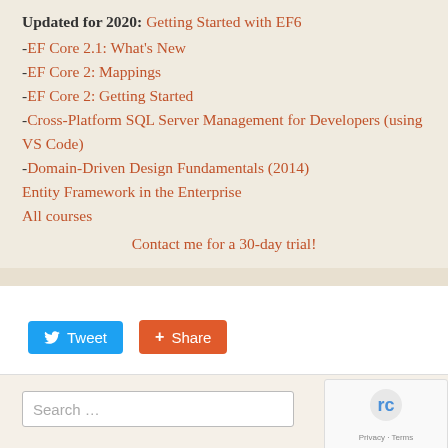Updated for 2020: Getting Started with EF6
-EF Core 2.1: What's New
-EF Core 2: Mappings
-EF Core 2: Getting Started
-Cross-Platform SQL Server Management for Developers (using VS Code)
-Domain-Driven Design Fundamentals (2014)
Entity Framework in the Enterprise
All courses
Contact me for a 30-day trial!
[Figure (other): Tweet and Share social media buttons]
[Figure (other): Search input box with reCAPTCHA widget]